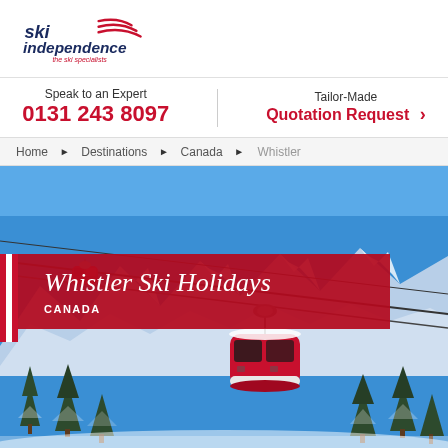[Figure (logo): Ski Independence logo — blue text 'ski independence' with red swoosh arcs and tagline 'the ski specialists' in red]
Speak to an Expert
0131 243 8097
Tailor-Made
Quotation Request >
Home ▶ Destinations ▶ Canada ▶ Whistler
Whistler Ski Holidays
CANADA
[Figure (photo): Photograph of red gondola cable cars against a bright blue sky with snow-capped mountains and snow-dusted pine trees below — Whistler ski resort scene]